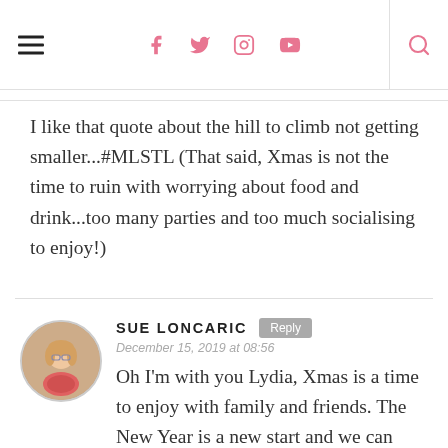Navigation bar with hamburger menu, social icons (Facebook, Twitter, Instagram, YouTube), and search icon
I like that quote about the hill to climb not getting smaller...#MLSTL (That said, Xmas is not the time to ruin with worrying about food and drink...too many parties and too much socialising to enjoy!)
SUE LONCARIC — December 15, 2019 at 08:56 — Oh I'm with you Lydia, Xmas is a time to enjoy with family and friends. The New Year is a new start and we can make changes then. Life is too short not to enjoy